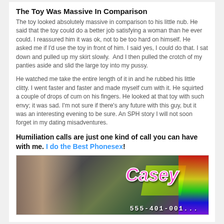The Toy Was Massive In Comparison
The toy looked absolutely massive in comparison to his little nub. He said that the toy could do a better job satisfying a woman than he ever could. I reassured him it was ok, not to be too hard on himself. He asked me if I'd use the toy in front of him. I said yes, I could do that. I sat down and pulled up my skirt slowly.  And I then pulled the crotch of my panties aside and slid the large toy into my pussy.
He watched me take the entire length of it in and he rubbed his little clitty. I went faster and faster and made myself cum with it. He squirted a couple of drops of cum on his fingers. He looked at that toy with such envy; it was sad. I'm not sure if there's any future with this guy, but it was an interesting evening to be sure. An SPH story I will not soon forget in my dating misadventures.
Humiliation calls are just one kind of call you can have with me. I do the Best Phonesex!
[Figure (photo): Promotional image showing a woman with the name Casey in pink stylized text and a phone number at the bottom]